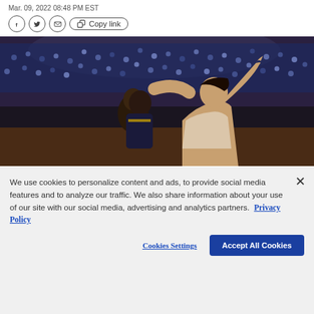Mar. 09, 2022 08:48 PM EST
[Figure (screenshot): Share bar with Facebook, Twitter, email, copy-link icons and 'Copy link' button]
[Figure (photo): Basketball game action photo showing players, one being fouled, with a crowd in the background at an indoor arena]
We use cookies to personalize content and ads, to provide social media features and to analyze our traffic. We also share information about your use of our site with our social media, advertising and analytics partners. Privacy Policy
Cookies Settings
Accept All Cookies